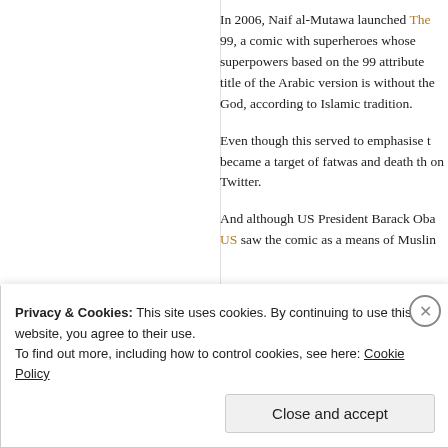In 2006, Naif al-Mutawa launched The 99, a comic with superheroes whose superpowers based on the 99 attributes of God in the Quran. The title of the Arabic version is without the word 'God', because no one can name God, according to Islamic tradition.
Even though this served to emphasise the Islamic nature of the comic, he became a target of fatwas and death threats, a fact he often discusses on Twitter.
And although US President Barack Obama praised the comic, and the US saw the comic as a means of Muslim outreach...
[Figure (other): Social sharing icons: Twitter bird icon and LinkedIn 'in' icon in golden/brown color]
Privacy & Cookies: This site uses cookies. By continuing to use this website, you agree to their use.
To find out more, including how to control cookies, see here: Cookie Policy
Close and accept